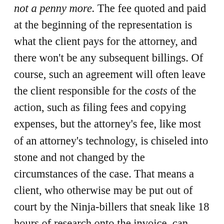not a penny more. The fee quoted and paid at the beginning of the representation is what the client pays for the attorney, and there won't be any subsequent billings. Of course, such an agreement will often leave the client responsible for the costs of the action, such as filing fees and copying expenses, but the attorney's fee, like most of an attorney's technology, is chiseled into stone and not changed by the circumstances of the case. That means a client, who otherwise may be put out of court by the Ninja-billers that sneak like 18 hours of research onto the invoice, can actually plan their expenses and know where they're at financially in the case, because the whole goddamn thing has been paid already.